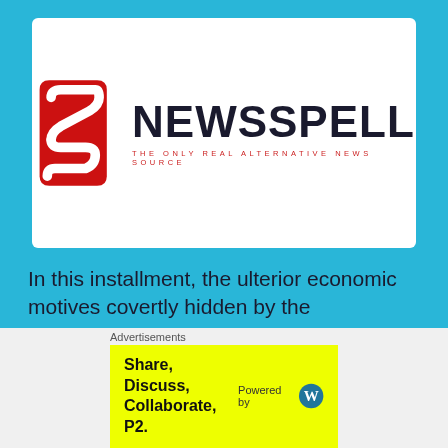[Figure (logo): NewsSpell logo: red stylized N icon on left, bold dark text NEWSSPELL on right, red tagline 'THE ONLY REAL ALTERNATIVE NEWS SOURCE' below]
In this installment, the ulterior economic motives covertly hidden by the coronavirus psychological operation/simulation exercise will be made clearer.
Advertisements
Share, Discuss, Collaborate, P2. Powered by [WordPress logo]